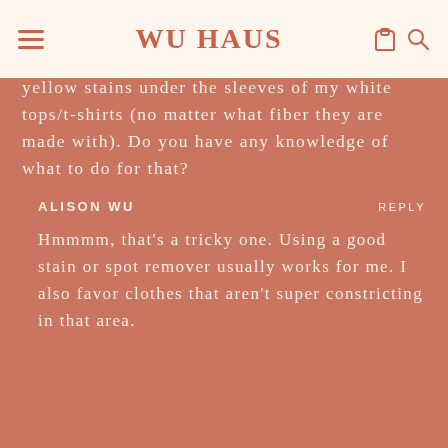WU HAUS
yellow stains under the sleeves of my white tops/t-shirts (no matter what fiber they are made with). Do you have any knowledge of what to do for that?
ALISON WU   REPLY
Hmmmm, that's a tricky one. Using a good stain or spot remover usually works for me. I also favor clothes that aren't super constricting in that area.